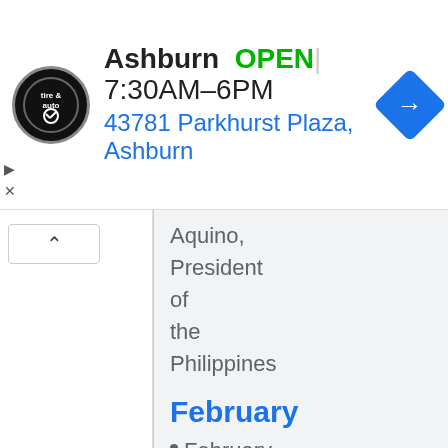[Figure (screenshot): Advertisement banner for Virginia Tire & Auto – Ashburn location. Shows logo, OPEN status, hours 7:30AM–6PM, address 43781 Parkhurst Plaza, Ashburn, and a blue navigation arrow icon.]
Aquino, President of the Philippines
February
February 8 - Elly Ameling,